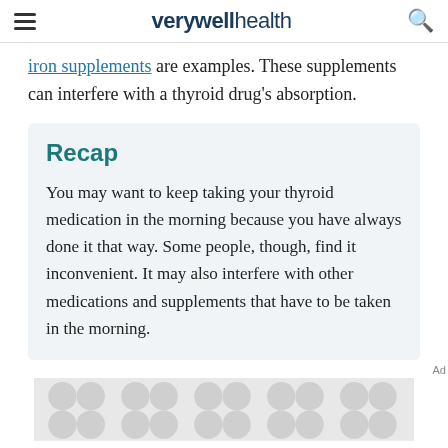verywell health
iron supplements are examples. These supplements can interfere with a thyroid drug's absorption.
Recap
You may want to keep taking your thyroid medication in the morning because you have always done it that way. Some people, though, find it inconvenient. It may also interfere with other medications and supplements that have to be taken in the morning.
Ad